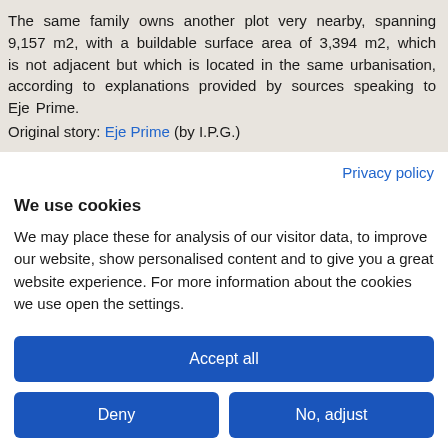The same family owns another plot very nearby, spanning 9,157 m2, with a buildable surface area of 3,394 m2, which is not adjacent but which is located in the same urbanisation, according to explanations provided by sources speaking to Eje Prime.
Original story: Eje Prime (by I.P.G.)
Privacy policy
We use cookies
We may place these for analysis of our visitor data, to improve our website, show personalised content and to give you a great website experience. For more information about the cookies we use open the settings.
Accept all
Deny
No, adjust